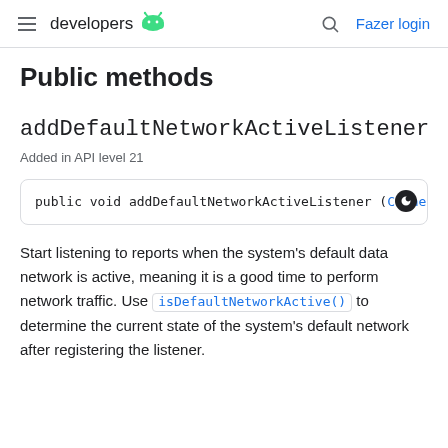developers | Fazer login
Public methods
addDefaultNetworkActiveListener
Added in API level 21
public void addDefaultNetworkActiveListener (Connect
Start listening to reports when the system's default data network is active, meaning it is a good time to perform network traffic. Use isDefaultNetworkActive() to determine the current state of the system's default network after registering the listener.